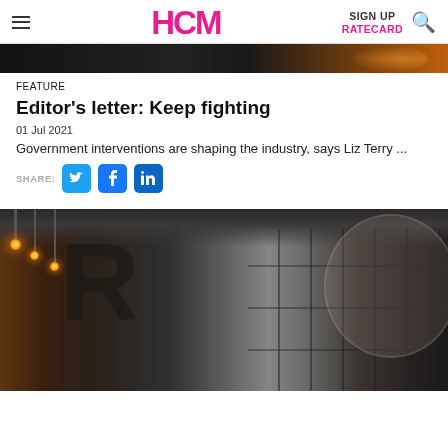HCM | SIGN UP | RATECARD
[Figure (photo): Dark top banner image strip from article hero photo]
FEATURE
Editor's letter: Keep fighting
01 Jul 2021
Government interventions are shaping the industry, says Liz Terry ...
SHARE: [Twitter] [Facebook] [LinkedIn]
[Figure (photo): Interior photo of a modern gym locker room with wooden lockers, industrial ceiling with exposed pipes, pendant lights with Edison bulbs, and large letter R graphic on dark tiled wall]